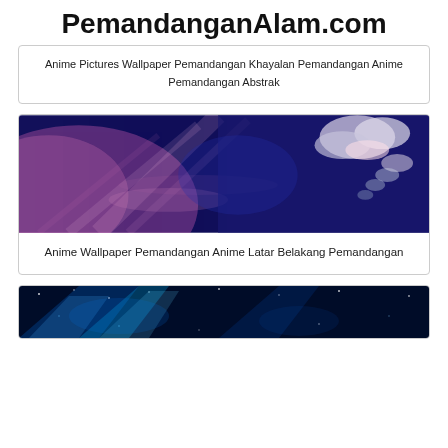PemandanganAlam.com
Anime Pictures Wallpaper Pemandangan Khayalan Pemandangan Anime Pemandangan Abstrak
[Figure (illustration): Anime-style sky wallpaper with purple/pink light rays on left and white clouds on dark blue sky on right]
Anime Wallpaper Pemandangan Anime Latar Belakang Pemandangan
[Figure (illustration): Anime-style cosmic/space scene with blue glowing light beams and starfield]